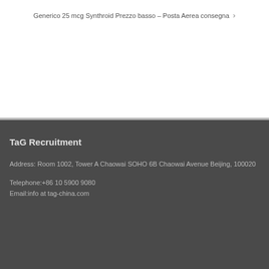Generico 25 mcg Synthroid Prezzo basso – Posta Aerea consegna ›
TaG Recruitment
Address: Room 1002, Tower A Chaowai SOHO 6B Chaowai Avenue Beijing, 100020
Telephone:+86 10 5900 9080
Email:info at tag-china.com